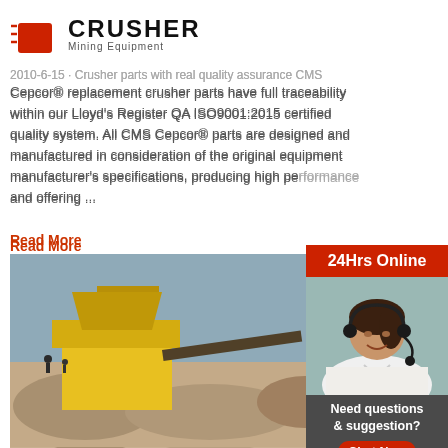[Figure (logo): Crusher Mining Equipment logo with red shopping bag icon and bold CRUSHER text]
2010-6-15 · Crusher parts with real quality assurance CMS Cepcor® replacement crusher parts have full traceability within our Lloyd's Register QA ISO9001:2015 certified quality system. All CMS Cepcor® parts are designed and manufactured in consideration of the original equipment manufacturer's specifications, producing high performance and offering ...
Read More
[Figure (photo): Yellow mining jaw crusher machine at a quarry site with rocky terrain and conveyor belts]
jaw crusher baxter company
jaw crusher baxter company. Rhino Jaw Crusher Engineering The Rhino Jaw Crusher is the predecessor to the Terminator Jaw Crusher It is now used This cost
[Figure (infographic): 24Hrs Online sidebar with customer service representative wearing headset, Need questions & suggestion text, Chat Now button, Enquiry section, limingjlmofen@sina.com email]